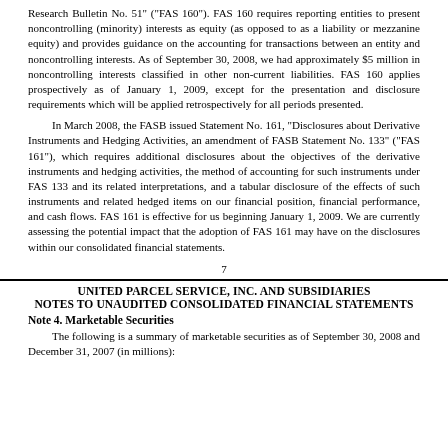Research Bulletin No. 51" ("FAS 160"). FAS 160 requires reporting entities to present noncontrolling (minority) interests as equity (as opposed to as a liability or mezzanine equity) and provides guidance on the accounting for transactions between an entity and noncontrolling interests. As of September 30, 2008, we had approximately $5 million in noncontrolling interests classified in other non-current liabilities. FAS 160 applies prospectively as of January 1, 2009, except for the presentation and disclosure requirements which will be applied retrospectively for all periods presented.
In March 2008, the FASB issued Statement No. 161, "Disclosures about Derivative Instruments and Hedging Activities, an amendment of FASB Statement No. 133" ("FAS 161"), which requires additional disclosures about the objectives of the derivative instruments and hedging activities, the method of accounting for such instruments under FAS 133 and its related interpretations, and a tabular disclosure of the effects of such instruments and related hedged items on our financial position, financial performance, and cash flows. FAS 161 is effective for us beginning January 1, 2009. We are currently assessing the potential impact that the adoption of FAS 161 may have on the disclosures within our consolidated financial statements.
7
UNITED PARCEL SERVICE, INC. AND SUBSIDIARIES
NOTES TO UNAUDITED CONSOLIDATED FINANCIAL STATEMENTS
Note 4. Marketable Securities
The following is a summary of marketable securities as of September 30, 2008 and December 31, 2007 (in millions):